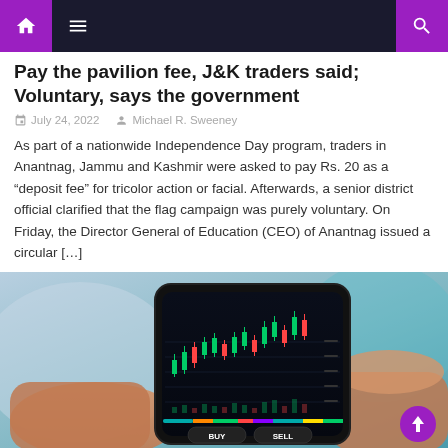Navigation bar with home, menu, and search icons
Pay the pavilion fee, J&K traders said; Voluntary, says the government
July 24, 2022   Michael R. Sweeney
As part of a nationwide Independence Day program, traders in Anantnag, Jammu and Kashmir were asked to pay Rs. 20 as a “deposit fee” for tricolor action or facial. Afterwards, a senior district official clarified that the flag campaign was purely voluntary. On Friday, the Director General of Education (CEO) of Anantnag issued a circular […]
[Figure (photo): Person holding a smartphone displaying a stock trading chart with candlestick patterns, BUY and SELL buttons visible at the bottom. Blurred background with teal/blue tones.]